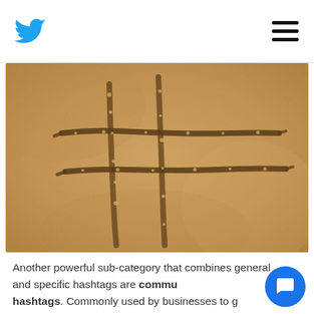Twitter bird logo and hamburger menu
[Figure (photo): A hashtag symbol (#) drawn in sand, photographed from above. The sand is golden-brown in color.]
Another powerful sub-category that combines general and specific hashtags are community hashtags. Commonly used by businesses to get discovered by their targeted audiences, the